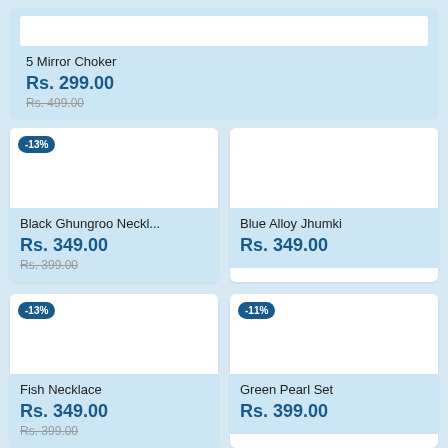5 Mirror Choker
Rs. 299.00
Rs. 499.00 (strikethrough)
Black Ghungroo Neckl...
Rs. 349.00
Rs. 399.00 (strikethrough)
Blue Alloy Jhumki
Rs. 349.00
Fish Necklace
Rs. 349.00
Rs. 399.00 (strikethrough)
Green Pearl Set
Rs. 399.00